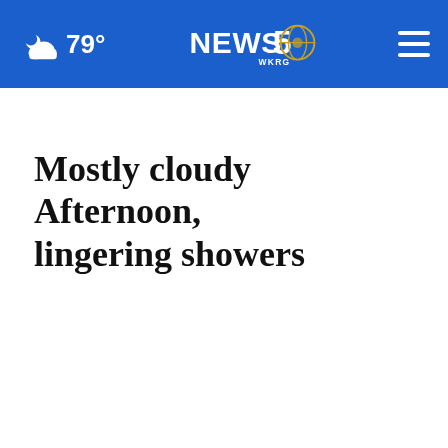79° NEWS 5 WKRG
Mostly cloudy Afternoon, lingering showers